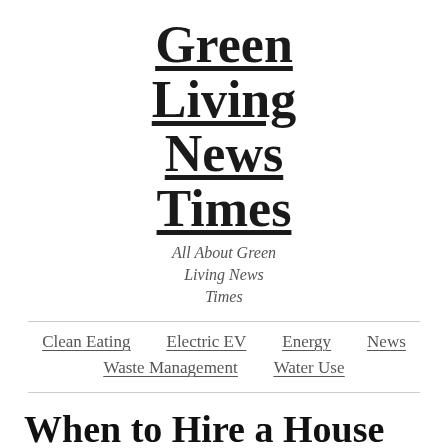Green Living News Times
All About Green Living News Times
Clean Eating   Electric EV   Energy   News   Waste Management   Water Use
When to Hire a House Painter